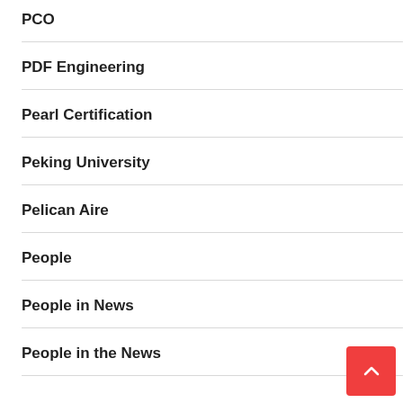PCO
PDF Engineering
Pearl Certification
Peking University
Pelican Aire
People
People in News
People in the News